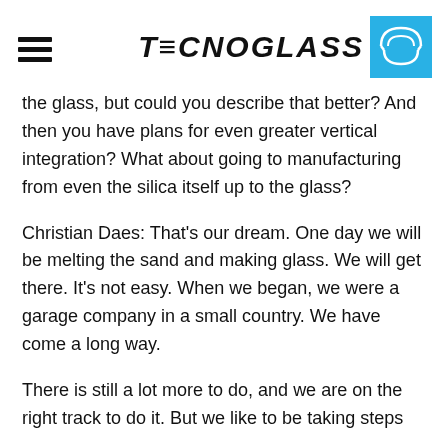TECNOGLASS
the glass, but could you describe that better? And then you have plans for even greater vertical integration? What about going to manufacturing from even the silica itself up to the glass?
Christian Daes: That’s our dream. One day we will be melting the sand and making glass. We will get there. It’s not easy. When we began, we were a garage company in a small country. We have come a long way.
There is still a lot more to do, and we are on the right track to do it. But we like to be taking steps